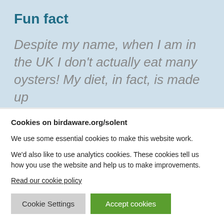Fun fact
Despite my name, when I am in the UK I don't actually eat many oysters! My diet, in fact, is made up
Cookies on birdaware.org/solent
We use some essential cookies to make this website work.
We'd also like to use analytics cookies. These cookies tell us how you use the website and help us to make improvements.
Read our cookie policy
Cookie Settings   Accept cookies